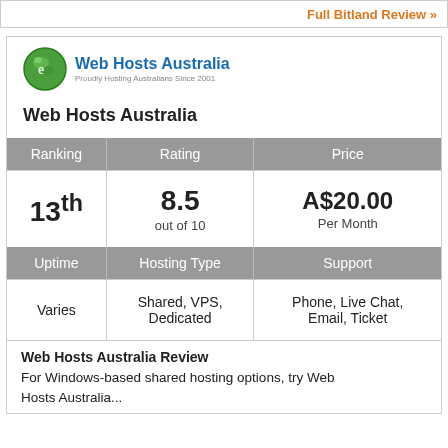Full Bitland Review »
[Figure (logo): Web Hosts Australia logo — green globe icon with company name in blue and tagline 'Proudly Hosting Australians Since 2001']
Web Hosts Australia
| Ranking | Rating | Price |
| --- | --- | --- |
| 13th | 8.5 out of 10 | A$20.00 Per Month |
| Uptime | Hosting Type | Support |
| Varies | Shared, VPS, Dedicated | Phone, Live Chat, Email, Ticket |
Web Hosts Australia Review
For Windows-based shared hosting options, try Web Hosts Australia...